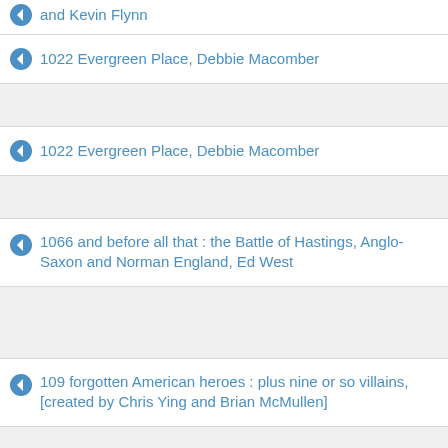and Kevin Flynn
1022 Evergreen Place, Debbie Macomber
1022 Evergreen Place, Debbie Macomber
1066 and before all that : the Battle of Hastings, Anglo-Saxon and Norman England, Ed West
109 forgotten American heroes : plus nine or so villains, [created by Chris Ying and Brian McMullen]
10th anniversary, James Patterson and Maxine Paetro
11 birthdays, by Wendy Mass
11 birthdays, by Wendy Mass